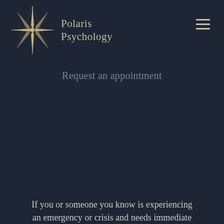[Figure (logo): Polaris Psychology logo: a star/compass rose shape made of thin intersecting lines in gold/beige tones, with the text 'Polaris Psychology' in serif font to the right]
Request an appointment
If you or someone you know is experiencing an emergency or crisis and needs immediate